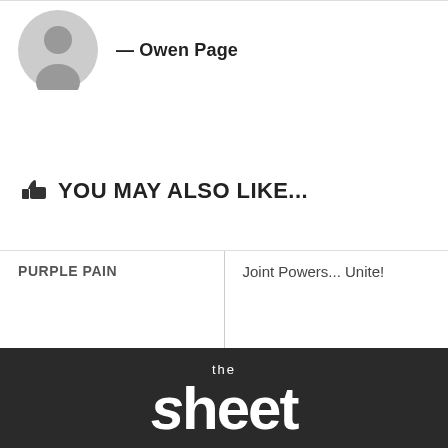— Owen Page
👍 YOU MAY ALSO LIKE...
PURPLE PAIN
12 MAR, 2021
Joint Powers... Unite!
28 JUL, 2017
[Figure (logo): The Sheet newspaper logo — 'the sheet' in white bold text on dark background]